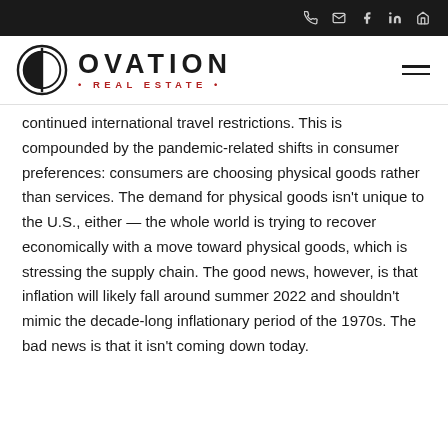Ovation Real Estate — navigation bar with phone, email, facebook, linkedin, home icons
[Figure (logo): Ovation Real Estate logo — circular emblem with split circle design and text OVATION in bold black, REAL ESTATE in red below]
continued international travel restrictions. This is compounded by the pandemic-related shifts in consumer preferences: consumers are choosing physical goods rather than services. The demand for physical goods isn't unique to the U.S., either — the whole world is trying to recover economically with a move toward physical goods, which is stressing the supply chain. The good news, however, is that inflation will likely fall around summer 2022 and shouldn't mimic the decade-long inflationary period of the 1970s. The bad news is that it isn't coming down today.